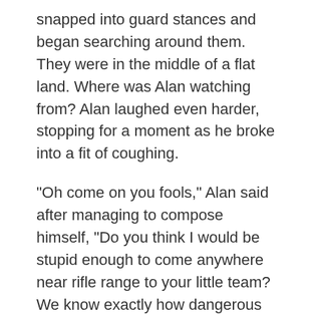snapped into guard stances and began searching around them. They were in the middle of a flat land. Where was Alan watching from? Alan laughed even harder, stopping for a moment as he broke into a fit of coughing.
"Oh come on you fools," Alan said after managing to compose himself, "Do you think I would be stupid enough to come anywhere near rifle range to your little team? We know exactly how dangerous you can be. But because I'm such a nice guy, I'll let you in on the secret. I rigged the radio so I could listen in on you as well as talk." Mateo let out a string of curses, which elicited another round of laughter from Alan.
"Why are you talking to us Alan?" Jim asked, trying desperately to keep his voice calm despite his fear. The